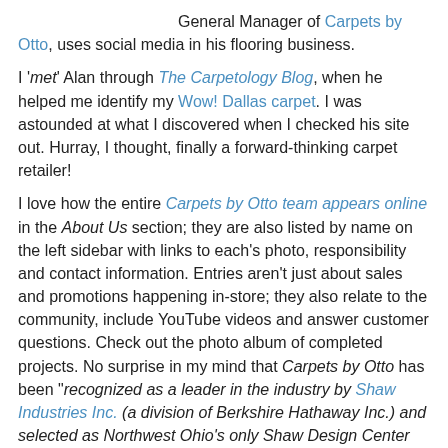General Manager of Carpets by Otto, uses social media in his flooring business.
I 'met' Alan through The Carpetology Blog, when he helped me identify my Wow! Dallas carpet. I was astounded at what I discovered when I checked his site out. Hurray, I thought, finally a forward-thinking carpet retailer!
I love how the entire Carpets by Otto team appears online in the About Us section; they are also listed by name on the left sidebar with links to each's photo, responsibility and contact information. Entries aren't just about sales and promotions happening in-store; they also relate to the community, include YouTube videos and answer customer questions. Check out the photo album of completed projects. No surprise in my mind that Carpets by Otto has been "recognized as a leader in the industry by Shaw Industries Inc. (a division of Berkshire Hathaway Inc.) and selected as Northwest Ohio's only Shaw Design Center partner."
Alan Woody graciously agreed to answer my many questions.